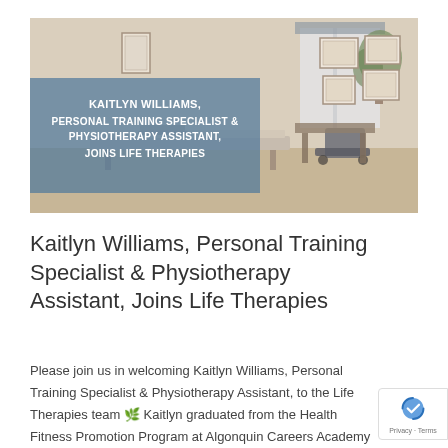[Figure (photo): Hero banner image of a physiotherapy clinic room with framed certificates on the wall, a treatment table, and a plant near a window. A semi-transparent blue overlay on the left contains bold white text announcing Kaitlyn Williams joining Life Therapies.]
Kaitlyn Williams, Personal Training Specialist & Physiotherapy Assistant, Joins Life Therapies
Please join us in welcoming Kaitlyn Williams, Personal Training Specialist & Physiotherapy Assistant, to the Life Therapies team 🌿 Kaitlyn graduated from the Health Fitness Promotion Program at Algonquin Careers Academy in 2015. She is Canfit Pro Certified as a